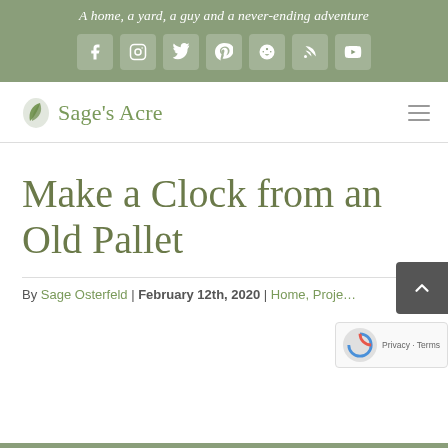A home, a yard, a guy and a never-ending adventure
[Figure (infographic): Social media icons row: Facebook, Instagram, Twitter, Pinterest, Reddit, RSS, YouTube — white icons on semi-transparent sage green boxes]
[Figure (logo): Sage's Acre logo with green leaf icon and text in sage green]
Make a Clock from an Old Pallet
By Sage Osterfeld | February 12th, 2020 | Home, Projects